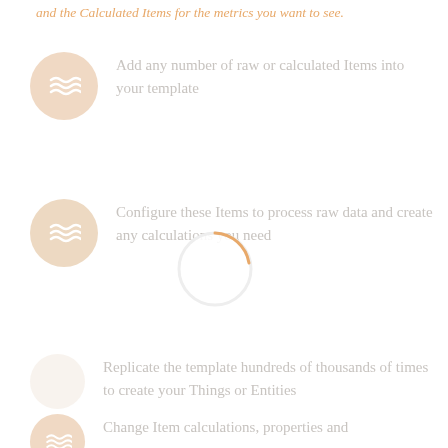and the Calculated Items for the metrics you want to see.
Add any number of raw or calculated Items into your template
Configure these Items to process raw data and create any calculations you need
Replicate the template hundreds of thousands of times to create your Things or Entities
Change Item calculations, properties and